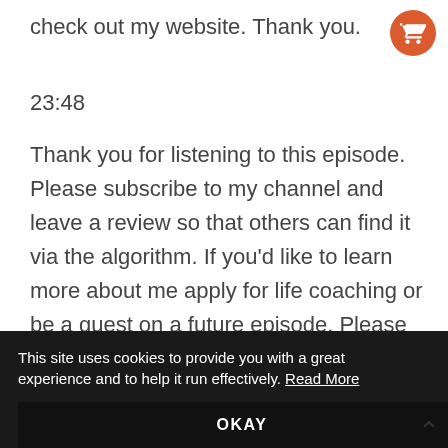check out my website. Thank you.
23:48
Thank you for listening to this episode. Please subscribe to my channel and leave a review so that others can find it via the algorithm. If you'd like to learn more about me apply for life coaching or be a guest on a future episode. Please visit my website at kristiamdahl.com. With peace gratitude
This site uses cookies to provide you with a great experience and to help it run effectively. Read More
OKAY